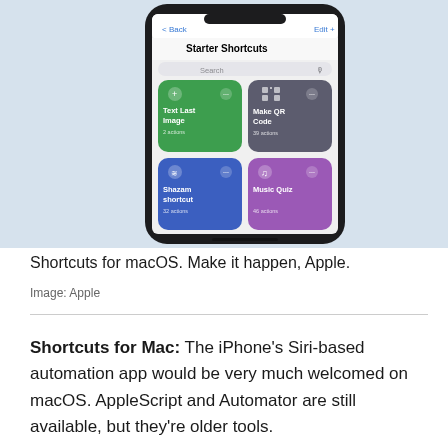[Figure (screenshot): iPhone screenshot showing the Shortcuts app with 'Starter Shortcuts' title, a search bar, and four shortcut tiles: 'Text Last Image' (green, 2 actions), 'Make QR Code' (gray, 39 actions), 'Shazam shortcut' (blue, 32 actions), 'Music Quiz' (purple, 46 actions). The phone sits on a light blue background.]
Shortcuts for macOS. Make it happen, Apple.
Image: Apple
Shortcuts for Mac: The iPhone's Siri-based automation app would be very much welcomed on macOS. AppleScript and Automator are still available, but they're older tools.